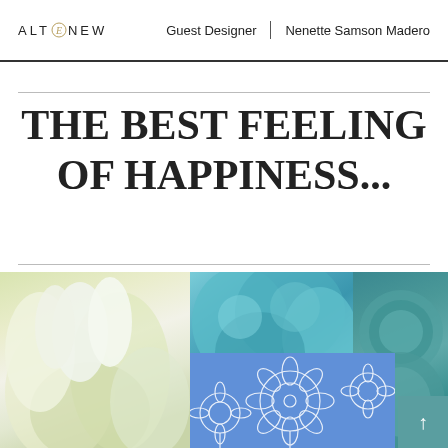ALTENEW | Guest Designer | Nenette Samson Madero
THE BEST FEELING OF HAPPINESS...
[Figure (photo): Collage of flowers: white calla lilies and green foliage on the left, teal/blue ranunculus and hydrangeas in the center and right, with a blue stamped floral card overlay in the lower center, and a teal scroll-to-top button on the right edge.]